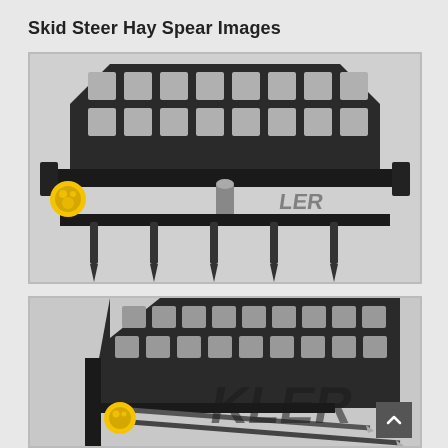Skid Steer Hay Spear Images
[Figure (photo): Front view of a skid steer hay spear attachment in dark gray/black, showing a grid-pattern back plate with rectangular openings, horizontal mounting bar, central vertical pin, and multiple spear tines at the bottom. Yellow Tyler brand logo visible on left side.]
[Figure (photo): Angled close-up view of a skid steer hay spear attachment in dark gray, showing the grid back plate, structural frame, and spear tines extending forward. Partial Tyler brand logo visible on the right side.]